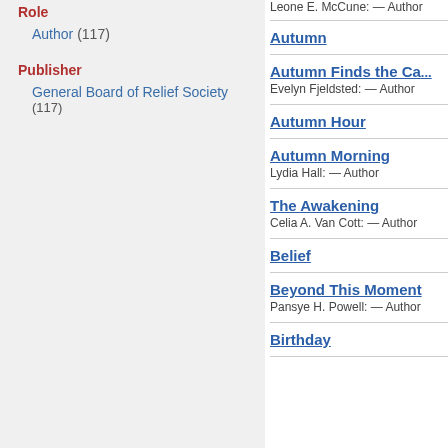Role
Author (117)
Publisher
General Board of Relief Society (117)
Leone E. McCune: — Author
Autumn
Autumn Finds the Ca...
Evelyn Fjeldsted: — Author
Autumn Hour
Autumn Morning
Lydia Hall: — Author
The Awakening
Celia A. Van Cott: — Author
Belief
Beyond This Moment
Pansye H. Powell: — Author
Birthday